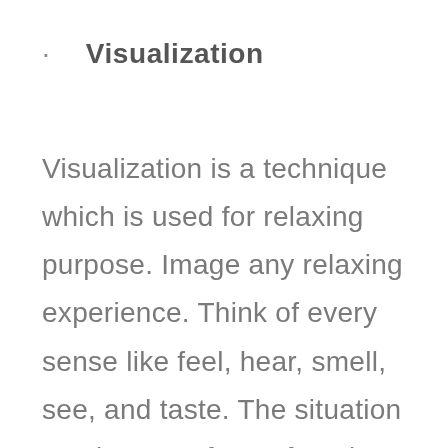· Visualization
Visualization is a technique which is used for relaxing purpose. Image any relaxing experience. Think of every sense like feel, hear, smell, see, and taste. The situation can be any of your favorite which makes you happy whenever you are thinking